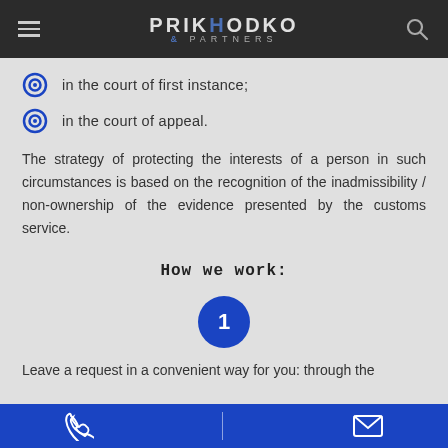PRIKHODKO & PARTNERS
in the court of first instance;
in the court of appeal.
The strategy of protecting the interests of a person in such circumstances is based on the recognition of the inadmissibility / non-ownership of the evidence presented by the customs service.
How we work:
[Figure (infographic): Blue circle with number 1 inside, representing step 1 in a process]
Leave a request in a convenient way for you: through the
Phone and email contact icons with divider